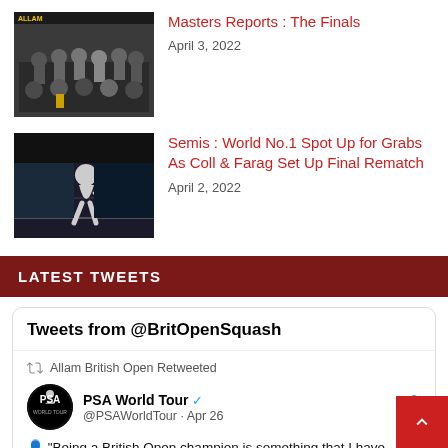[Figure (photo): Group photo of people posing together indoors]
Masters Reports : The Finals
April 3, 2022
[Figure (photo): Squash player on court mid-game]
Semis : World No.1 Spot Up for Grabs As Coll & Farag Set Up Final Rematch
April 2, 2022
LATEST TWEETS
Tweets from @BritOpenSquash
Allam British Open Retweeted
PSA World Tour @PSAWorldTour · Apr 26
"Being a British Open champion is something that I have always dreamt off and to